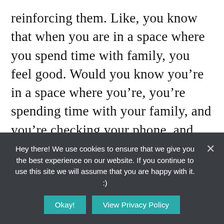reinforcing them. Like, you know that when you are in a space where you spend time with family, you feel good. Would you know you’re in a space where you’re, you’re spending time with your family, and you’re checking your phone, and it’s not quality time that you want to spend with your family, then you that’s going to feel like you’re disconnected from your your values, you’re not going to feel good about it, you’re going to feel drained, and it’s not
Hey there! We use cookies to ensure that we give you the best experience on our website. If you continue to use this site we will assume that you are happy with it. :)